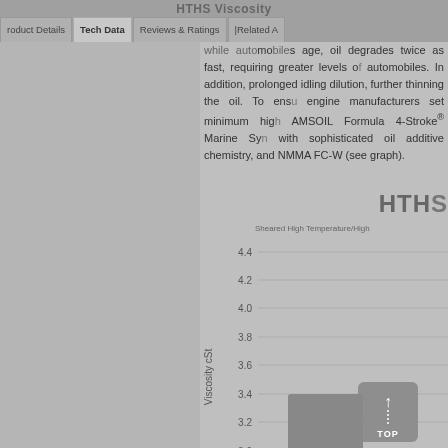HTHS Viscosity
Product Details | Tech Data | Reviews & Ratings | Related A
while automobiles age, oil degrades twice as fast, requiring greater levels of automobiles. In addition, prolonged idling dilution, further thinning the oil. To ensure engine manufacturers set minimum high AMSOIL Formula 4-Stroke® Marine Syn with sophisticated oil additive chemistry, and NMMA FC-W (see graph).
HTH
Sheared High Temperature/High
[Figure (bar-chart): Partial bar chart showing HTHS Viscosity in cSt with y-axis from 3.0 to 4.4. One visible bar labeled 2.9.]